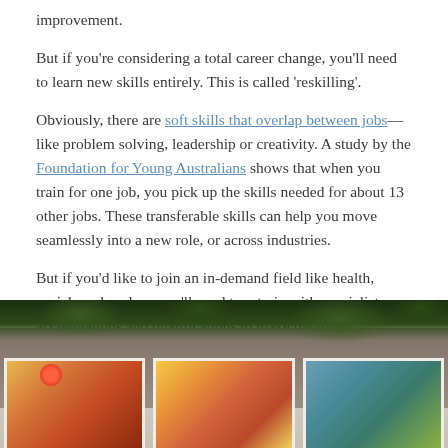improvement.
But if you're considering a total career change, you'll need to learn new skills entirely. This is called 'reskilling'.
Obviously, there are soft skills that overlap between jobs— like problem solving, leadership or creativity. A study by the Foundation for Young Australians shows that when you train for one job, you pick up the skills needed for about 13 other jobs. These transferable skills can help you move seamlessly into a new role, or across industries.
But if you'd like to join an in-demand field like health, social work or law, you'll need to retrain with specialist accreditations and qualifications to make the jump.
[Figure (photo): Photograph showing colorful paintings/artworks laid out on a stone surface with greenery and flowers in the background. Three visible paintings with warm floral tones and one with cooler blue-green tones.]